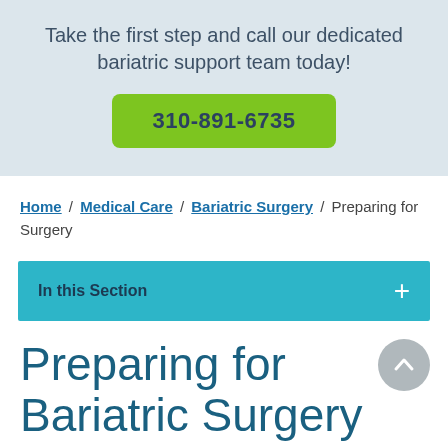Take the first step and call our dedicated bariatric support team today!
310-891-6735
Home / Medical Care / Bariatric Surgery / Preparing for Surgery
In this Section
Preparing for Bariatric Surgery